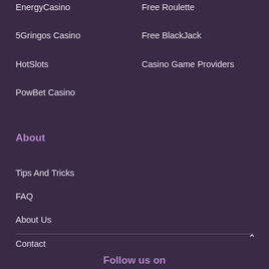EnergyCasino
5Gringos Casino
HotSlots
PowBet Casino
Free Roulette
Free BlackJack
Casino Game Providers
About
Tips And Tricks
FAQ
About Us
Contact
Follow us on